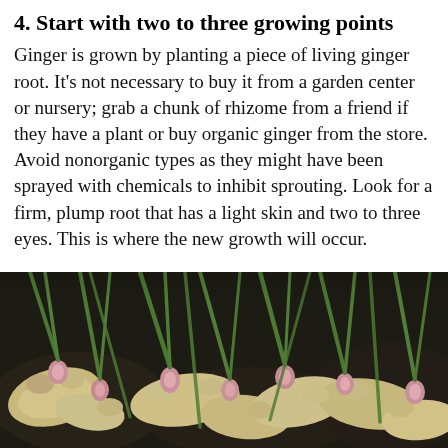4. Start with two to three growing points
Ginger is grown by planting a piece of living ginger root. It's not necessary to buy it from a garden center or nursery; grab a chunk of rhizome from a friend if they have a plant or buy organic ginger from the store. Avoid nonorganic types as they might have been sprayed with chemicals to inhibit sprouting. Look for a firm, plump root that has a light skin and two to three eyes. This is where the new growth will occur.
[Figure (photo): Close-up photograph of ginger rhizomes with pink buds and green shoots sprouting upward, lying on dark soil background.]